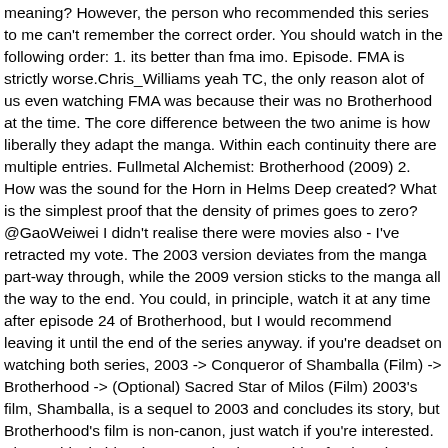meaning? However, the person who recommended this series to me can't remember the correct order. You should watch in the following order: 1. its better than fma imo. Episode. FMA is strictly worse.Chris_Williams yeah TC, the only reason alot of us even watching FMA was because their was no Brotherhood at the time. The core difference between the two anime is how liberally they adapt the manga. Within each continuity there are multiple entries. Fullmetal Alchemist: Brotherhood (2009) 2. How was the sound for the Horn in Helms Deep created? What is the simplest proof that the density of primes goes to zero? @GaoWeiwei I didn't realise there were movies also - I've retracted my vote. The 2003 version deviates from the manga part-way through, while the 2009 version sticks to the manga all the way to the end. You could, in principle, watch it at any time after episode 24 of Brotherhood, but I would recommend leaving it until the end of the series anyway. if you're deadset on watching both series, 2003 -> Conqueror of Shamballa (Film) -> Brotherhood -> (Optional) Sacred Star of Milos (Film) 2003's film, Shamballa, is a sequel to 2003 and concludes its story, but Brotherhood's film is non-canon, just watch if you're interested. The mythical object is rumored to be capable of enhancing an alchemist's capabilities by springtime and limit, thus allowing him to circumvent the fundamental rule of alchemy. How does the state know when people transmute something into gold? Fullmetal Alchemist: Brotherhood Season show reviews & Metacritic score: Hohenheim grapples with his own mind, searching for the answers to his doubts about humanity.